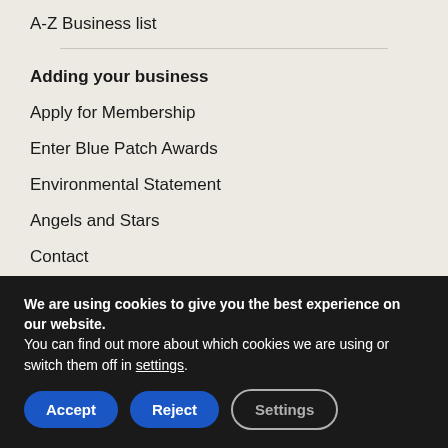A-Z Business list
Adding your business
Apply for Membership
Enter Blue Patch Awards
Environmental Statement
Angels and Stars
Contact
FAQ
Blue Patch Member's Log-in
We are using cookies to give you the best experience on our website.
You can find out more about which cookies we are using or switch them off in settings.
Accept   Reject   Settings